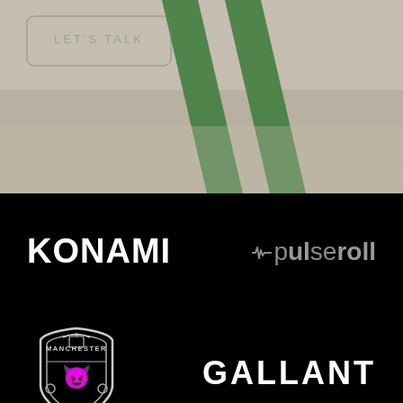[Figure (photo): Top portion showing a green football/soccer pitch with green lines and markings on a light gray/beige surface, partial view from above]
[Figure (logo): KONAMI logo in white bold text on black background]
[Figure (logo): pulseroll logo with heartbeat icon in gray text on black background]
[Figure (logo): Manchester United crest/badge in white outline on black background]
[Figure (logo): GALLANT text logo in white bold letters on black background]